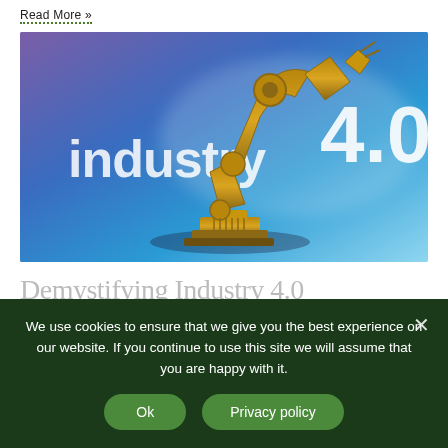Read More »
[Figure (illustration): A golden robotic arm posed in front of a glowing 'industry 4.0' text on a blue/purple gradient background]
Demystifying Industry 4.0
We use cookies to ensure that we give you the best experience on our website. If you continue to use this site we will assume that you are happy with it.
Ok
Privacy policy